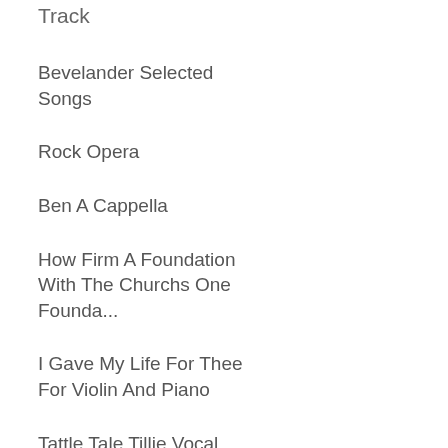Track
Bevelander Selected Songs
Rock Opera
Ben A Cappella
How Firm A Foundation With The Churchs One Founda...
I Gave My Life For Thee For Violin And Piano
Tattle Tale Tillie Vocal Solo With Piano Accompan...
Something By The Beatles For Trumpet And